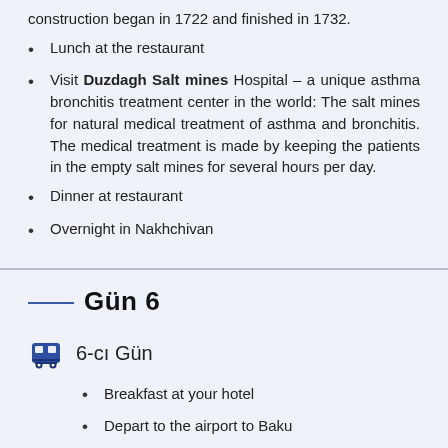construction began in 1722 and finished in 1732.
Lunch at the restaurant
Visit Duzdagh Salt mines Hospital – a unique asthma bronchitis treatment center in the world: The salt mines for natural medical treatment of asthma and bronchitis. The medical treatment is made by keeping the patients in the empty salt mines for several hours per day.
Dinner at restaurant
Overnight in Nakhchivan
Gün 6
6-cı Gün
Breakfast at your hotel
Depart to the airport to Baku
Check in Hotel